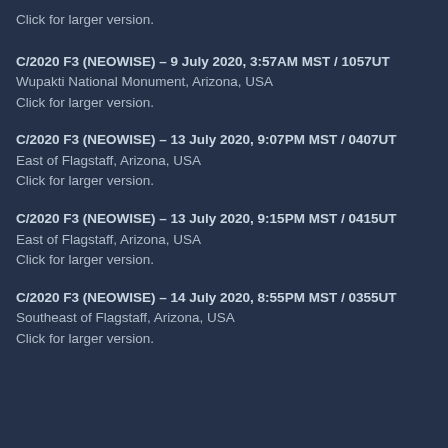Click for larger version.
C/2020 F3 (NEOWISE) – 9 July 2020, 3:57AM MST / 1057UT
Wupakti National Monument, Arizona, USA
Click for larger version.
C/2020 F3 (NEOWISE) – 13 July 2020, 9:07PM MST / 0407UT
East of Flagstaff, Arizona, USA
Click for larger version.
C/2020 F3 (NEOWISE) – 13 July 2020, 9:15PM MST / 0415UT
East of Flagstaff, Arizona, USA
Click for larger version.
C/2020 F3 (NEOWISE) – 14 July 2020, 8:55PM MST / 0355UT
Southeast of Flagstaff, Arizona, USA
Click for larger version.